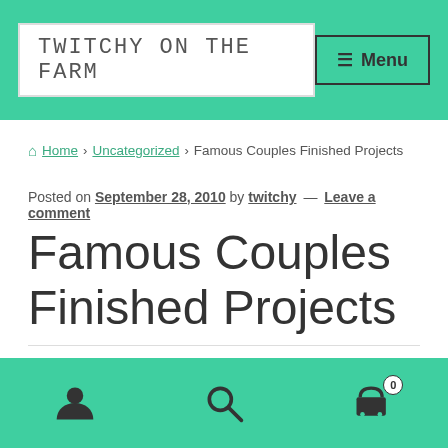TWITCHY ON THE FARM | Menu
Home > Uncategorized > Famous Couples Finished Projects
Posted on September 28, 2010 by twitchy — Leave a comment
Famous Couples Finished Projects
Last week, a friend of mine sent me a photo from her
User icon | Search icon | Cart icon with badge 0